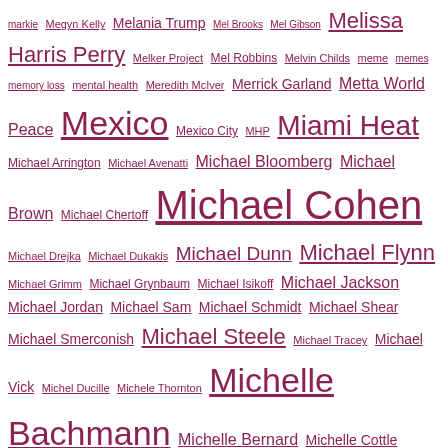markie Megyn Kelly Melania Trump Mel Brooks Mel Gibson Melissa Harris Perry Melker Project Mel Robbins Melvin Childs meme memes memory loss mental health Meredith McIver Merrick Garland Metta World Peace Mexico Mexico City MHP Miami Heat Michael Arrington Michael Avenatti Michael Bloomberg Michael Brown Michael Chertoff Michael Cohen Michael Drejka Michael Dukakis Michael Dunn Michael Flynn Michael Grimm Michael Grynbaum Michael Isikoff Michael Jackson Michael Jordan Michael Sam Michael Schmidt Michael Shear Michael Smerconish Michael Steele Michael Tracey Michael Vick Michel Ducille Michele Thornton Michelle Bachmann Michelle Bernard Michelle Cottle Michelle Fields Michelle Goldberg Michelle Hudgins Michelle Knight Michelle Malkin Michelle Nunn Michelle Obama Michelle Obama booed Michelle Obama heckler Michelle Rhee Michelle Wolf Michel Martin Michigan Michigan Chronicle Michigan primary Mick Mulvaney micro-drone Micro Aerial Vehicles middle finger midterm elections midterms Miguel Caballero Miguel Oliveira Mike Bloomberg Mike Brown Mike Carey Mike Flynn Mike Francona Mike Galanos Mike Huckabee Mike Lefgren Mike McQueary Mike